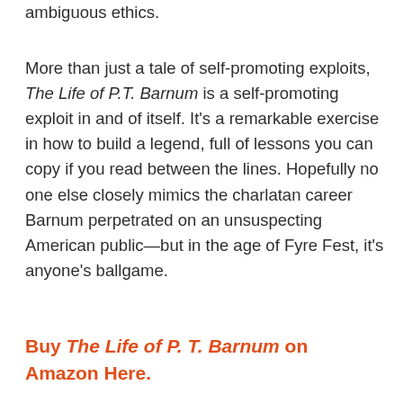ambiguous ethics.
More than just a tale of self-promoting exploits, The Life of P.T. Barnum is a self-promoting exploit in and of itself. It’s a remarkable exercise in how to build a legend, full of lessons you can copy if you read between the lines. Hopefully no one else closely mimics the charlatan career Barnum perpetrated on an unsuspecting American public—but in the age of Fyre Fest, it’s anyone’s ballgame.
Buy The Life of P. T. Barnum on Amazon Here.